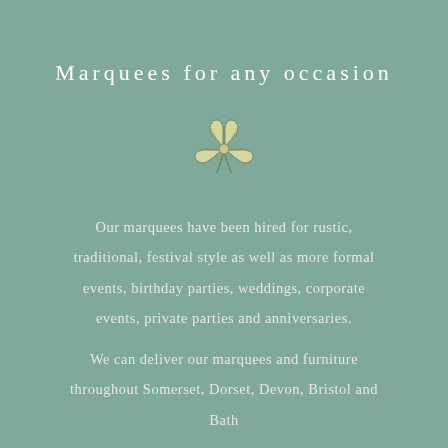Marquees for any occasion
[Figure (illustration): Small decorative botanical illustration of a four-petaled flower or clover in olive/yellow-green tones with dark outline, centered on the page]
Our marquees have been hired for rustic, traditional, festival style as well as more formal events, birthday parties, weddings, corporate events, private parties and anniversaries.
We can deliver our marquees and furniture throughout Somerset, Dorset, Devon, Bristol and Bath